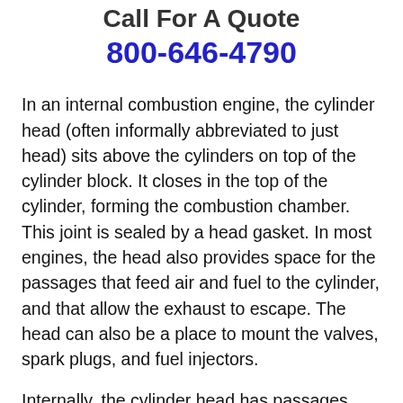Call For A Quote
800-646-4790
In an internal combustion engine, the cylinder head (often informally abbreviated to just head) sits above the cylinders on top of the cylinder block. It closes in the top of the cylinder, forming the combustion chamber. This joint is sealed by a head gasket. In most engines, the head also provides space for the passages that feed air and fuel to the cylinder, and that allow the exhaust to escape. The head can also be a place to mount the valves, spark plugs, and fuel injectors.
Internally, the cylinder head has passages called ports or tracts for the fuel/air mixture to